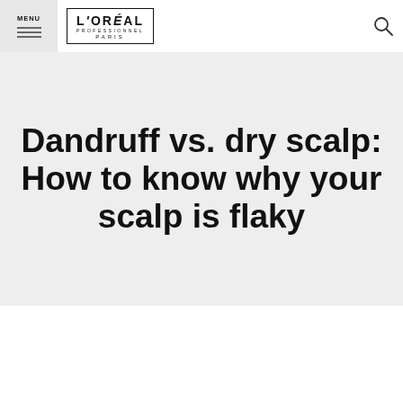MENU
[Figure (logo): L'Oréal Professionnel Paris logo with border]
[Figure (other): Search icon (magnifying glass)]
Dandruff vs. dry scalp: How to know why your scalp is flaky